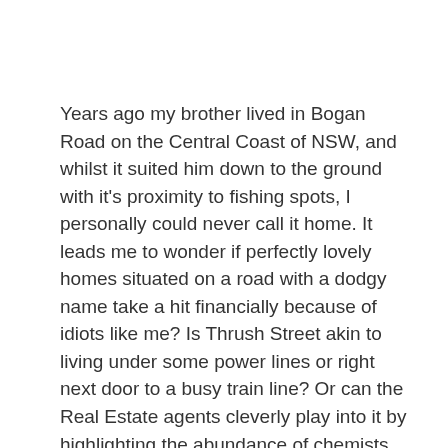Years ago my brother lived in Bogan Road on the Central Coast of NSW, and whilst it suited him down to the ground with it's proximity to fishing spots, I personally could never call it home. It leads me to wonder if perfectly lovely homes situated on a road with a dodgy name take a hit financially because of idiots like me? Is Thrush Street akin to living under some power lines or right next door to a busy train line? Or can the Real Estate agents cleverly play into it by highlighting the abundance of chemists in the surrounding area stocked with Canestan? One thing is for sure, I'm not itching to live there (sorry, had to).